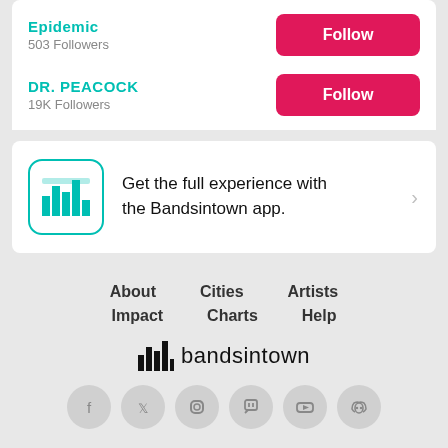Epidemic
503 Followers
DR. PEACOCK
19K Followers
Get the full experience with the Bandsintown app.
About
Cities
Artists
Impact
Charts
Help
[Figure (logo): Bandsintown logo with bar chart icon and text 'bandsintown']
[Figure (infographic): Social media icons: Facebook, Twitter, Instagram, Twitch, YouTube, Discord]